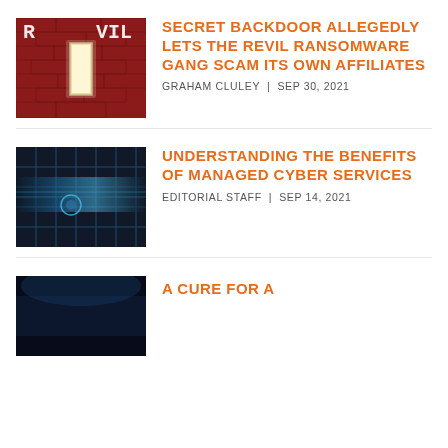[Figure (photo): REvil ransomware logo on red brick background showing a door with light]
SECRET BACKDOOR ALLEGEDLY LETS THE REVIL RANSOMWARE GANG SCAM ITS OWN AFFILIATES
GRAHAM CLULEY | SEP 30, 2021
[Figure (photo): Abstract blue digital network/cyber grid background]
UNDERSTANDING THE BENEFITS OF MANAGED CYBER SERVICES
EDITORIAL STAFF | SEP 14, 2021
[Figure (photo): Dark blue abstract background partial image]
A CURE FOR A